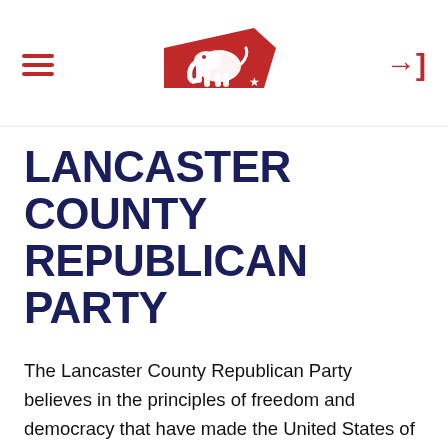LANCASTER COUNTY REPUBLICAN PARTY [logo/navigation header]
LANCASTER COUNTY REPUBLICAN PARTY
The Lancaster County Republican Party believes in the principles of freedom and democracy that have made the United States of America a light for goodness in the world.  Gifted to us in documents such as the Declaration of Independence and our Constitution, we will uphold original source documents as the TRUTHS to guide our Party and the